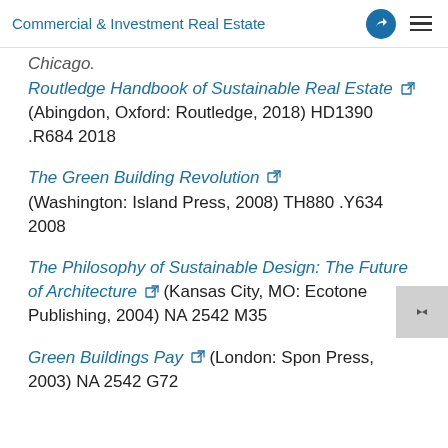Commercial & Investment Real Estate
Chicago.
Routledge Handbook of Sustainable Real Estate [external link] (Abingdon, Oxford: Routledge, 2018) HD1390 .R684 2018
The Green Building Revolution [external link] (Washington: Island Press, 2008) TH880 .Y634 2008
The Philosophy of Sustainable Design: The Future of Architecture [external link] (Kansas City, MO: Ecotone Publishing, 2004) NA 2542 M35
Green Buildings Pay [external link] (London: Spon Press, 2003) NA 2542 G72